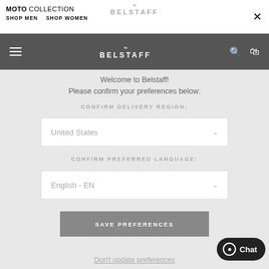MOTO COLLECTION SHOP MEN SHOP WOMEN BELSTAFF
Welcome to Belstaff! Please confirm your preferences below:
CONFIRM DELIVERY REGION:
United States
CONFIRM PREFERRED LANGUAGE:
English - EN
SAVE PREFERENCES
Don't update preferences